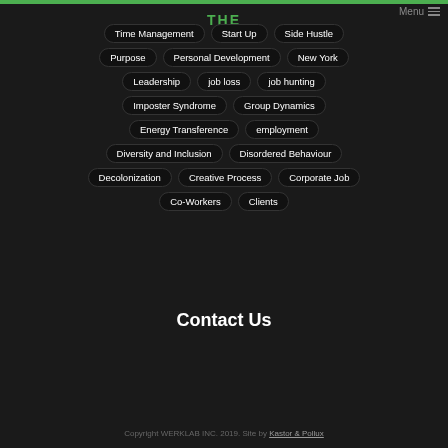Time Management
Start Up
Side Hustle
Purpose
Personal Development
New York
Leadership
job loss
job hunting
Imposter Syndrome
Group Dynamics
Energy Transference
employment
Diversity and Inclusion
Disordered Behaviour
Decolonization
Creative Process
Corporate Job
Co-Workers
Clients
Contact Us
Copyright WERKLAB INC. 2019. Site by Kastor & Pollux